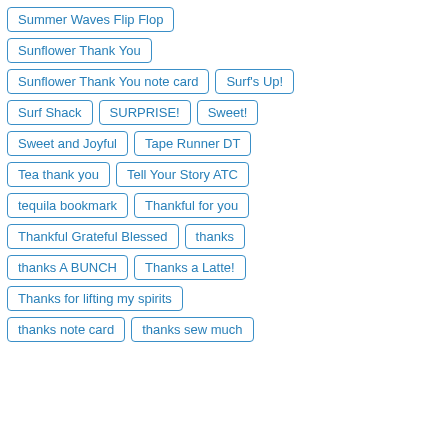Summer Waves Flip Flop
Sunflower Thank You
Sunflower Thank You note card
Surf's Up!
Surf Shack
SURPRISE!
Sweet!
Sweet and Joyful
Tape Runner DT
Tea thank you
Tell Your Story ATC
tequila bookmark
Thankful for you
Thankful Grateful Blessed
thanks
thanks A BUNCH
Thanks a Latte!
Thanks for lifting my spirits
thanks note card
thanks sew much